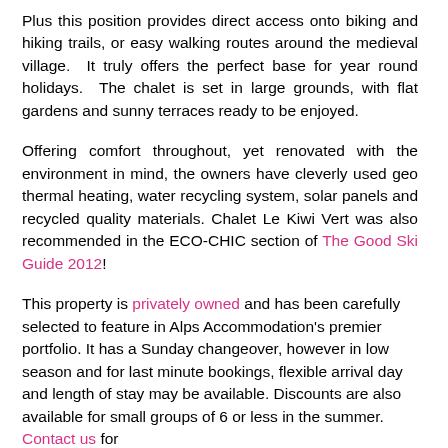Plus this position provides direct access onto biking and hiking trails, or easy walking routes around the medieval village. It truly offers the perfect base for year round holidays. The chalet is set in large grounds, with flat gardens and sunny terraces ready to be enjoyed.
Offering comfort throughout, yet renovated with the environment in mind, the owners have cleverly used geo thermal heating, water recycling system, solar panels and recycled quality materials. Chalet Le Kiwi Vert was also recommended in the ECO-CHIC section of The Good Ski Guide 2012!
This property is privately owned and has been carefully selected to feature in Alps Accommodation's premier portfolio. It has a Sunday changeover, however in low season and for last minute bookings, flexible arrival day and length of stay may be available. Discounts are also available for small groups of 6 or less in the summer. Contact us for